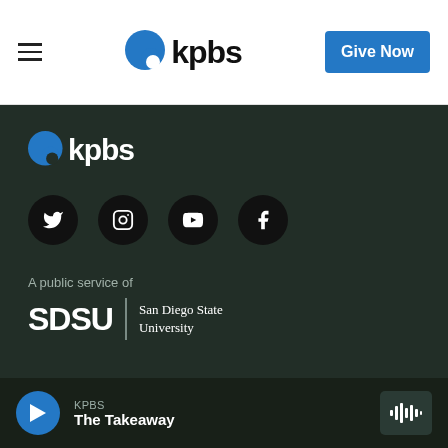kpbs — Give Now
[Figure (logo): KPBS logo with blue speech bubble icon and 'kpbs' text in dark font, footer version on dark background]
[Figure (infographic): Social media icons: Twitter, Instagram, YouTube, Facebook — circular black buttons]
A public service of
[Figure (logo): SDSU | San Diego State University logo in white on dark background]
KPBS
The Takeaway